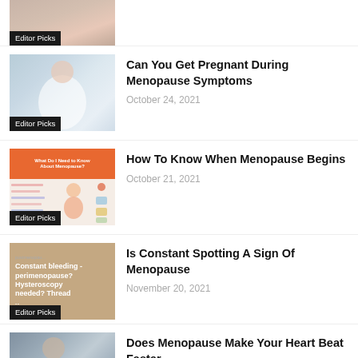[Figure (photo): Partial thumbnail of person examining scalp/hair, cropped at top]
Editor Picks
[Figure (photo): Pregnant woman in blue top holding belly]
Editor Picks
Can You Get Pregnant During Menopause Symptoms
October 24, 2021
[Figure (infographic): Menopause infographic with orange header 'What Do I Need to Know About Menopause?' and illustrated female figure with symptom labels]
Editor Picks
How To Know When Menopause Begins
October 21, 2021
[Figure (photo): Tan/beige background image with text about constant bleeding perimenopause hysteroscopy]
Editor Picks
Is Constant Spotting A Sign Of Menopause
November 20, 2021
[Figure (photo): Person with head in hands, appears distressed, medical setting]
Does Menopause Make Your Heart Beat Faster